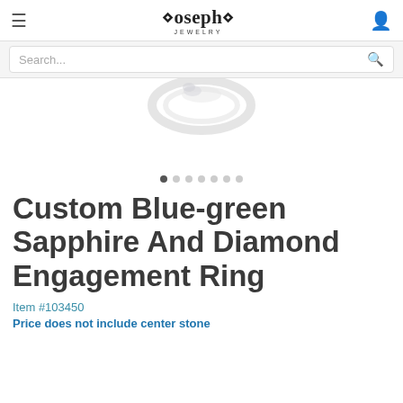Joseph Jewelry
Search...
[Figure (photo): Partial image of a blue-green sapphire and diamond engagement ring against a white background]
Custom Blue-green Sapphire And Diamond Engagement Ring
Item #103450
Price does not include center stone